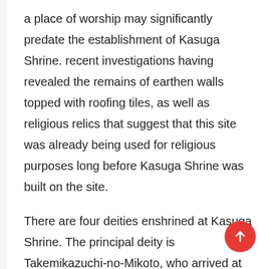a place of worship may significantly predate the establishment of Kasuga Shrine. recent investigations having revealed the remains of earthen walls topped with roofing tiles, as well as religious relics that suggest that this site was already being used for religious purposes long before Kasuga Shrine was built on the site.
There are four deities enshrined at Kasuga Shrine. The principal deity is Takemikazuchi-no-Mikoto, who arrived at Mikasayama from Kashima Shrine in modern-day Ibaraki Prefecture, riding a white stag. Here in Nara, deer are believed to be the sacred messengers of the gods. Another deity, Futsunushi